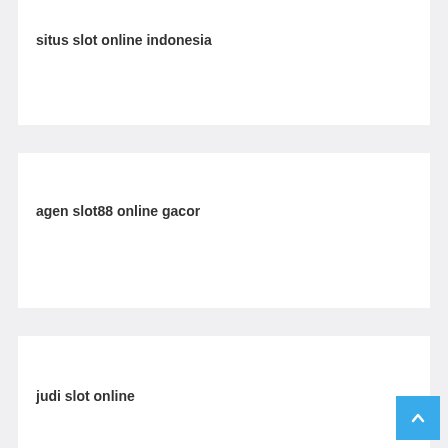situs slot online indonesia
agen slot88 online gacor
judi slot online